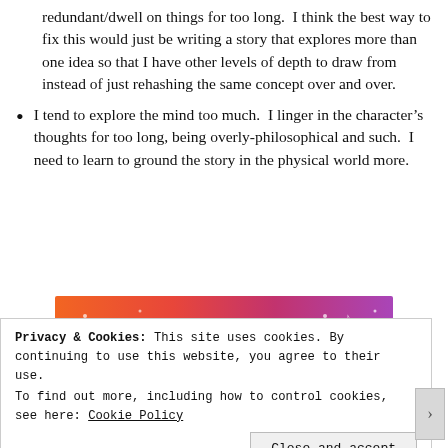redundant/dwell on things for too long.  I think the best way to fix this would just be writing a story that explores more than one idea so that I have other levels of depth to draw from instead of just rehashing the same concept over and over.
I tend to explore the mind too much.  I linger in the character's thoughts for too long, being overly-philosophical and such.  I need to learn to ground the story in the physical world more.
[Figure (other): Tumblr banner/logo image with colorful orange-to-purple gradient background with white doodles, small cartoon characters, and the word 'tumblr' in bold black and white text.]
Privacy & Cookies: This site uses cookies. By continuing to use this website, you agree to their use.
To find out more, including how to control cookies, see here: Cookie Policy
Close and accept